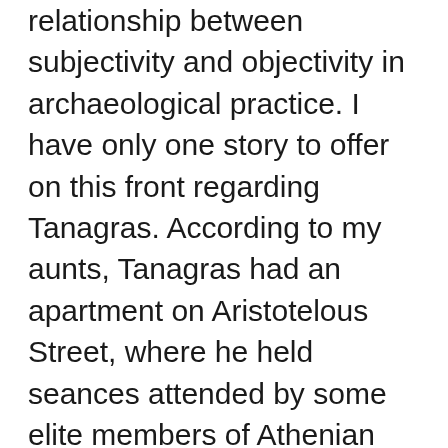relationship between subjectivity and objectivity in archaeological practice. I have only one story to offer on this front regarding Tanagras. According to my aunts, Tanagras had an apartment on Aristotelous Street, where he held seances attended by some elite members of Athenian society. His professional research, after all, was on the communication of spirits and paranormal psychic activities. Among the regular attendants were members of the Police Department, who sought clues for solving crimes. This might seem bizarre to us today, but we must remember that through the early 20th-c. somnubalism, spiritualism and theosophy were considered mainstream intellectual positions. Madame Blatavsky comes to mind, the founder of the Theosophical Society. What distinguishes